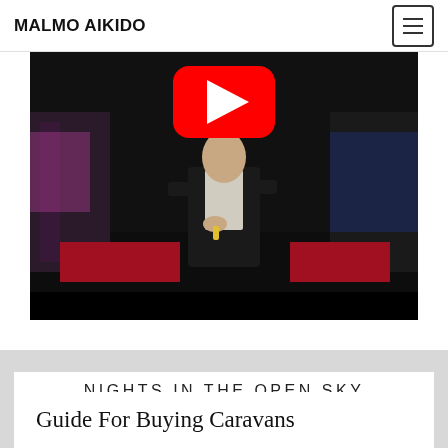MALMO AIKIDO
[Figure (screenshot): YouTube video thumbnail showing a man in a dark suit on a stage with colorful stage lighting. A large red YouTube play button is visible at the top center of the video.]
NIGHTS IN THE OPEN SKY
Guide For Buying Caravans